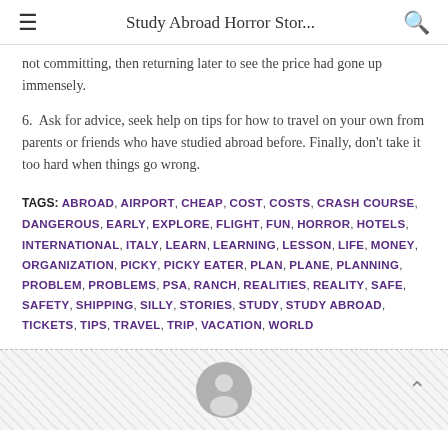Study Abroad Horror Stor...
not committing, then returning later to see the price had gone up immensely.
6.  Ask for advice, seek help on tips for how to travel on your own from parents or friends who have studied abroad before. Finally, don't take it too hard when things go wrong.
TAGS: ABROAD, AIRPORT, CHEAP, COST, COSTS, CRASH COURSE, DANGEROUS, EARLY, EXPLORE, FLIGHT, FUN, HORROR, HOTELS, INTERNATIONAL, ITALY, LEARN, LEARNING, LESSON, LIFE, MONEY, ORGANIZATION, PICKY, PICKY EATER, PLAN, PLANE, PLANNING, PROBLEM, PROBLEMS, PSA, RANCH, REALITIES, REALITY, SAFE, SAFETY, SHIPPING, SILLY, STORIES, STUDY, STUDY ABROAD, TICKETS, TIPS, TRAVEL, TRIP, VACATION, WORLD
[Figure (illustration): Avatar/profile icon placeholder with a person silhouette in a grey circle, on a light grey hatched background section. A chevron-up (^) arrow is on the right.]